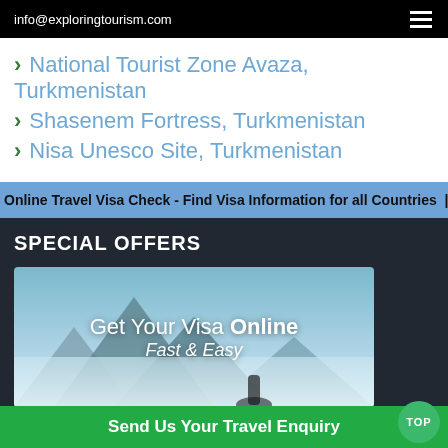info@exploringtourism.com
National Tourist Zone Avaza, Turkmenistan
Shasenem Fortress, Turkmenistan
Nisa Unesco Site, Turkmenistan
Online Travel Visa Check - Find Visa Information for all Countries | www.iVISA.co
SPECIAL OFFERS
[Figure (illustration): Get Your Visa Online - Fast & Easy advertisement banner with mountain/nature background]
We use cookies to ensure that we give you the best experience on our website  Accept  Cookies Policy
Send Us Your Travel Enquiry